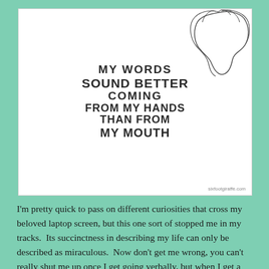[Figure (illustration): Hand-drawn illustration with handwritten-style block letters reading 'MY WORDS SOUND BETTER COMING FROM MY HANDS THAN FROM MY MOUTH' with a line-art sketch of a person's head/profile in the top right corner. Attribution: sixfootgiraffe.com at bottom right.]
I'm pretty quick to pass on different curiosities that cross my beloved laptop screen, but this one sort of stopped me in my tracks.  Its succinctness in describing my life can only be described as miraculous.  Now don't get me wrong, you can't really shut me up once I get going verbally, but when I get a keyboard in front of me we're